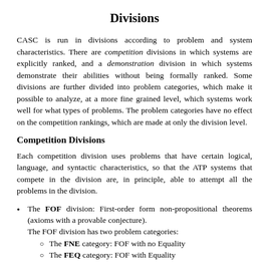Divisions
CASC is run in divisions according to problem and system characteristics. There are competition divisions in which systems are explicitly ranked, and a demonstration division in which systems demonstrate their abilities without being formally ranked. Some divisions are further divided into problem categories, which make it possible to analyze, at a more fine grained level, which systems work well for what types of problems. The problem categories have no effect on the competition rankings, which are made at only the division level.
Competition Divisions
Each competition division uses problems that have certain logical, language, and syntactic characteristics, so that the ATP systems that compete in the division are, in principle, able to attempt all the problems in the division.
The FOF division: First-order form non-propositional theorems (axioms with a provable conjecture). The FOF division has two problem categories:
  The FNE category: FOF with no Equality
  The FEQ category: FOF with Equality